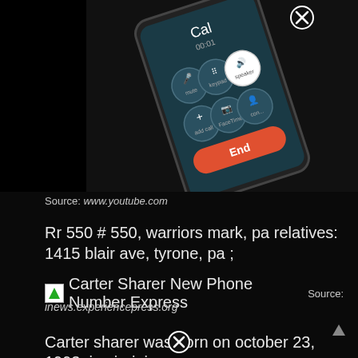[Figure (photo): A smartphone screen showing an active phone call interface with iOS call controls (mute, keypad, speaker, hold, FaceTime, contacts, add call) and a red End button. The phone is tilted/rotated slightly. A close/dismiss button (X in circle) is visible at top.]
Source: www.youtube.com
Rr 550 # 550, warriors mark, pa relatives: 1415 blair ave, tyrone, pa ;
Carter Sharer New Phone Number Express  Source:
inews.experiencepress.org
Carter sharer was born on october 23, 1993, in virginia,